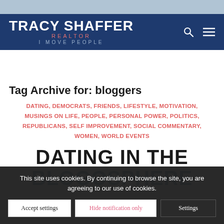TRACY SHAFFER REALTOR I MOVE PEOPLE
Tag Archive for: bloggers
DATING, DEMOCRATS, FRIENDS, LIFESTYLE, MOTIVATION, MUSINGS ON LIFE, PEOPLE, PERSONAL POWER, POLITICS, REPUBLICANS, SELF IMPROVEMENT, SOCIAL COMMENTARY, WOMEN, WORLD EVENTS
DATING IN THE BLOGOSPHERE
This site uses cookies. By continuing to browse the site, you are agreeing to our use of cookies.